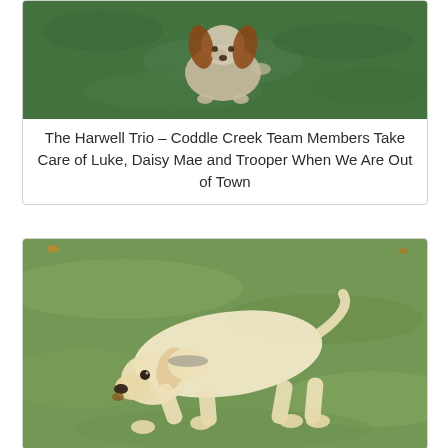[Figure (photo): A dog (appears to be a Cocker Spaniel with reddish-brown ears) standing on green grass, viewed from above/front. The photo is partially cut off at the top.]
The Harwell Trio – Coddle Creek Team Members Take Care of Luke, Daisy Mae and Trooper When We Are Out of Town
[Figure (photo): A yellow/white Labrador Retriever dog walking on a grassy lawn, head lowered toward the ground.]